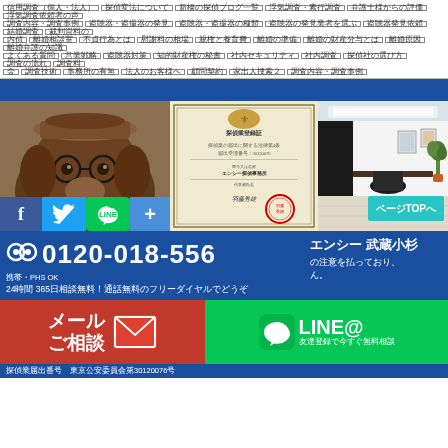信用調査（個人・法人）
探偵変法について
新橋の探偵ブログ一覧
浮気調査・素行調査
弁護士様からの評価
浮気調査依頼者の声
調査内容・調査事例
盗聴器・盗撮器の発見
盗聴器・盗撮器の種類
盗聴器の発見業者を選ぶ
盗聴器発見依頼
結婚調査
裁判資料の
内偵
離婚相談室
不貞行為とは
慰謝料の相場
親権と養育費
離婚の準備
離婚の財産分与とは
離婚原因
離婚弁護の知識
よくある質問
営業戦略
盗聴器対策
知的財産権の秘書
社内セキュリティ
社内調査
探偵社の選び方
調査の流れ
調査料
金
調査技術
事務所の有無
法人のお客様へ
顧問契約
家出人捜索２
調査内容・調査事例
[Figure (screenshot): Japanese detective agency website screenshot showing navigation tags, dog mascot photo, social media buttons (Facebook, Twitter, LINE), certificate document, office interior, phone number 0120-018-556, email and LINE contact buttons]
0120-018-556
携帯・PHS OK
24時間 365日相談無料！通話無料のフリーダイヤルでどうぞ
エンシー 武蔵小杉
の注意を払っており、
ん。
メール
ご相談
LINE@
友達登録で今すぐ無料相談
探偵業届出番号　東京公安委員会第30120076号